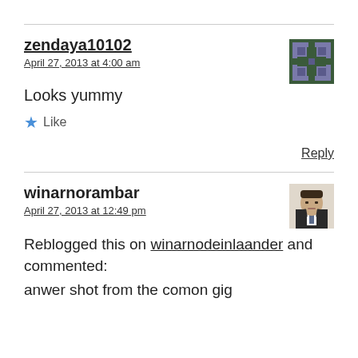zendaya10102
April 27, 2013 at 4:00 am
[Figure (illustration): Pixel art avatar for zendaya10102, green and purple color scheme]
Looks yummy
★ Like
Reply
winarnorambar
April 27, 2013 at 12:49 pm
[Figure (photo): Profile photo of winarnorambar, man in suit]
Reblogged this on winarnodeinlaander and commented:
anwer shot from the comon gig